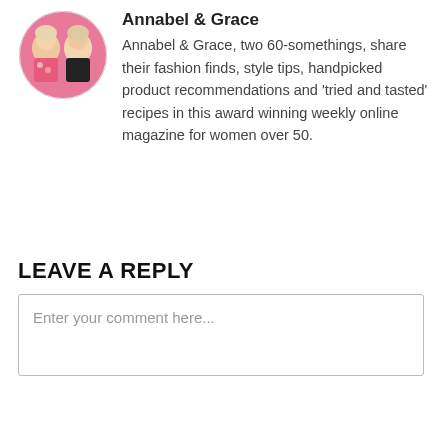[Figure (photo): Circular profile photo of two women (Annabel and Grace) posing together against a pink background]
Annabel & Grace
Annabel & Grace, two 60-somethings, share their fashion finds, style tips, handpicked product recommendations and 'tried and tasted' recipes in this award winning weekly online magazine for women over 50.
LEAVE A REPLY
Enter your comment here...